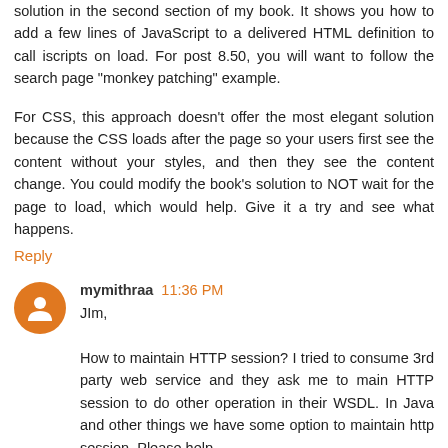solution in the second section of my book. It shows you how to add a few lines of JavaScript to a delivered HTML definition to call iscripts on load. For post 8.50, you will want to follow the search page "monkey patching" example.
For CSS, this approach doesn't offer the most elegant solution because the CSS loads after the page so your users first see the content without your styles, and then they see the content change. You could modify the book's solution to NOT wait for the page to load, which would help. Give it a try and see what happens.
Reply
mymithraa 11:36 PM
JIm,
How to maintain HTTP session? I tried to consume 3rd party web service and they ask me to main HTTP session to do other operation in their WSDL. In Java and other things we have some option to maintain http session. Please help.